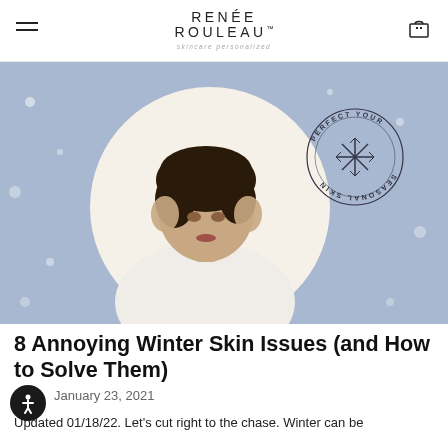RENÉE ROULEAU™ — skincare personalized
[Figure (photo): Woman with short dark hair wearing a white top, hands raised to her temples/eyes, positioned against a lavender/blue background with a large white circle behind her. A circular badge in the upper right reads 'PERFECT YOUR SEASONAL SKIN' with a snowflake icon in the center.]
8 Annoying Winter Skin Issues (and How to Solve Them)
January 23, 2021
Updated 01/18/22. Let's cut right to the chase. Winter can be